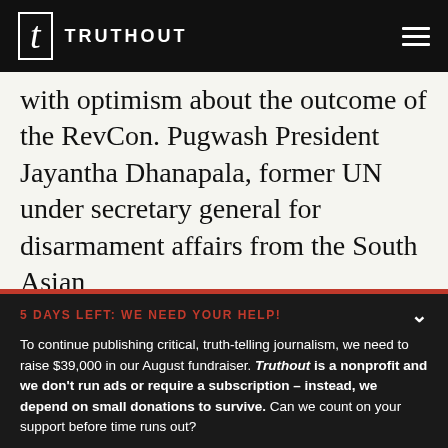TRUTHOUT
with optimism about the outcome of the RevCon. Pugwash President Jayantha Dhanapala, former UN under secretary general for disarmament affairs from the South Asian
5 DAYS LEFT: WE NEED YOUR HELP! To continue publishing critical, truth-telling journalism, we need to raise $39,000 in our August fundraiser. Truthout is a nonprofit and we don't run ads or require a subscription – instead, we depend on small donations to survive. Can we count on your support before time runs out?
DONATE
DONATE MONTHLY